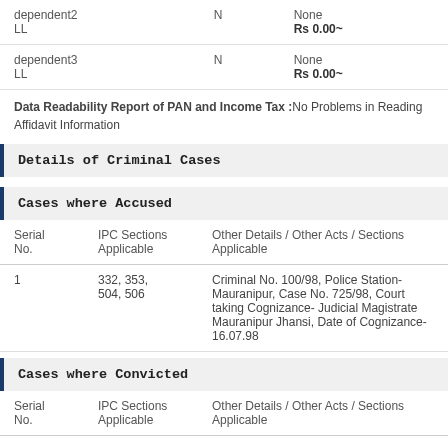| Name |  | Type / Value |
| --- | --- | --- |
| dependent2
LL | N | None
Rs 0.00~ |
| dependent3
LL | N | None
Rs 0.00~ |
Data Readability Report of PAN and Income Tax :No Problems in Reading Affidavit Information
Details of Criminal Cases
Cases where Accused
| Serial No. | IPC Sections Applicable | Other Details / Other Acts / Sections Applicable |
| --- | --- | --- |
| 1 | 332, 353, 504, 506 | Criminal No. 100/98, Police Station- Mauranipur, Case No. 725/98, Court taking Cognizance- Judicial Magistrate Mauranipur Jhansi, Date of Cognizance- 16.07.98 |
Cases where Convicted
| Serial No. | IPC Sections Applicable | Other Details / Other Acts / Sections Applicable |
| --- | --- | --- |